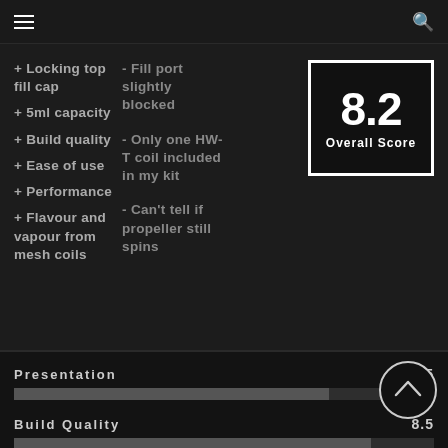≡   🔍
+ Locking top fill cap
+ 5ml capacity
+ Build quality
+ Ease of use
+ Performance
+ Flavour and vapour from mesh coils
- Fill port slightly blocked
- Only one HW-T coil included in my kit
- Can't tell if propeller still spins
[Figure (infographic): Score box showing 8.2 Overall Score in white text on black background with white border]
Presentation   7.5
[Figure (infographic): Progress bar for Presentation score 7.5 with circle arrow button]
Build Quality   8.5
[Figure (infographic): Progress bar for Build Quality score 8.5]